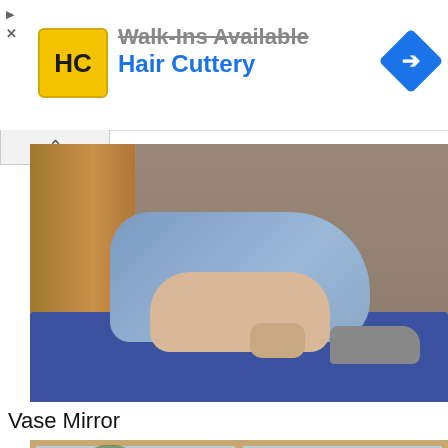[Figure (screenshot): Advertisement banner for Hair Cuttery with yellow HC logo, text 'Walk-Ins Available' struck through, 'Hair Cuttery' in blue, and a blue direction arrow icon on the right. Small ad disclosure triangle and X in upper left.]
[Figure (photo): Photo of a person sitting on a blue yoga mat on a concrete floor, leaning against a ornate wooden mirror frame. Person is wearing a blue top and gray shoes.]
Vase Mirror
[Figure (photo): Photo of a vase mirror product. Top portion shows a window with green plants and a terracotta pot. Lower portion shows a white mirror panel with a vase silhouette cutout design.]